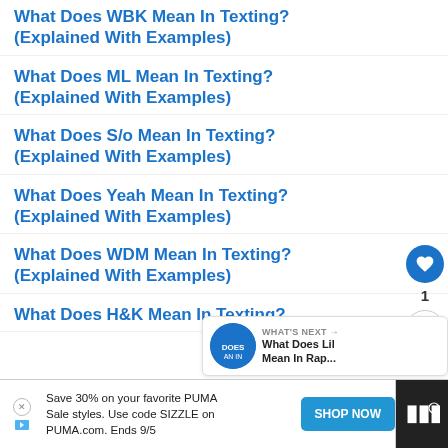What Does WBK Mean In Texting? (Explained With Examples)
What Does ML Mean In Texting? (Explained With Examples)
What Does S/o Mean In Texting? (Explained With Examples)
What Does Yeah Mean In Texting? (Explained With Examples)
What Does WDM Mean In Texting? (Explained With Examples)
What Does H&K Mean In Texting?
Save 30% on your favorite PUMA Sale styles. Use code SIZZLE on PUMA.com. Ends 9/5
SHOP NOW
WHAT'S NEXT → What Does Lil Mean In Rap...
1